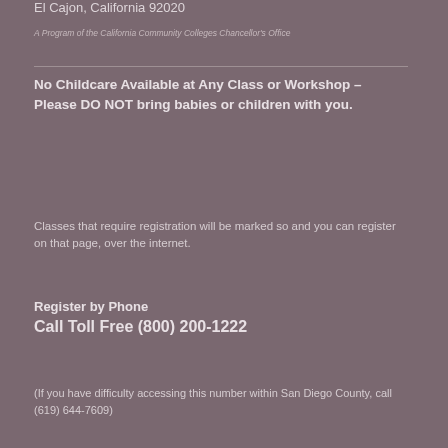El Cajon, California 92020
A Program of the California Community Colleges Chancellor's Office
No Childcare Available at Any Class or Workshop – Please DO NOT bring babies or children with you.
Classes that require registration will be marked so and you can register on that page, over the internet.
Register by Phone
Call Toll Free (800) 200-1222
(If you have difficulty accessing this number within San Diego County, call (619) 644-7609)